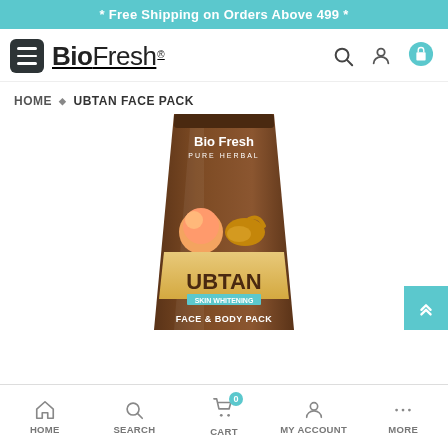* Free Shipping on Orders Above 499 *
[Figure (logo): Bio Fresh brand logo with hamburger menu icon and navigation icons (search, account, cart)]
HOME ♦ UBTAN FACE PACK
[Figure (photo): Bio Fresh Pure Herbal Ubtan Skin Whitening Face & Body Pack product tube in brown color with peach and turmeric imagery]
HOME  SEARCH  CART  MY ACCOUNT  MORE